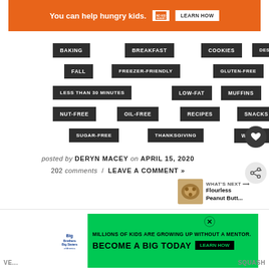[Figure (screenshot): Orange advertisement banner: 'You can help hungry kids. NO KID HUNGRY. LEARN HOW']
BAKING
BREAKFAST
COOKIES
DESSERT
FALL
FREEZER-FRIENDLY
GLUTEN-FREE
LESS THAN 30 MINUTES
LOW-FAT
MUFFINS
NUT-FREE
OIL-FREE
RECIPES
SNACKS
SUGAR-FREE
THANKSGIVING
WINTER
posted by DERYN MACEY on APRIL 15, 2020
202 comments / LEAVE A COMMENT »
WHAT'S NEXT → Flourless Peanut Butt...
[Figure (screenshot): Big Brothers Big Sisters advertisement: 'MILLIONS OF KIDS ARE GROWING UP WITHOUT A MENTOR. BECOME A BIG TODAY. Learn How']